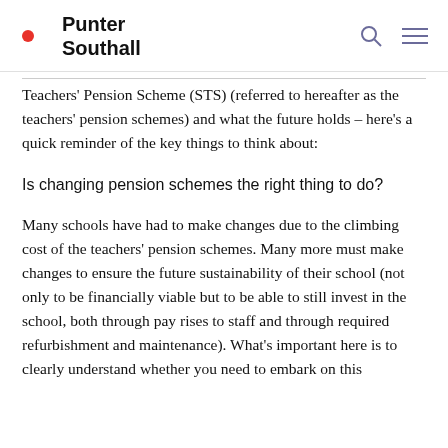Punter Southall
Teachers' Pension Scheme (STS) (referred to hereafter as the teachers' pension schemes) and what the future holds – here's a quick reminder of the key things to think about:
Is changing pension schemes the right thing to do?
Many schools have had to make changes due to the climbing cost of the teachers' pension schemes. Many more must make changes to ensure the future sustainability of their school (not only to be financially viable but to be able to still invest in the school, both through pay rises to staff and through required refurbishment and maintenance). What's important here is to clearly understand whether you need to embark on this